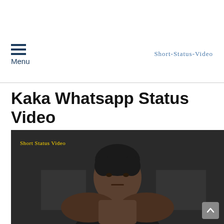Menu | Short-Status-Video
Kaka Whatsapp Status Video
[Figure (photo): Dark portrait photo of a young man with short hair, shirtless, with 'Short Status Video' watermark text in yellow in the top left corner of the image.]